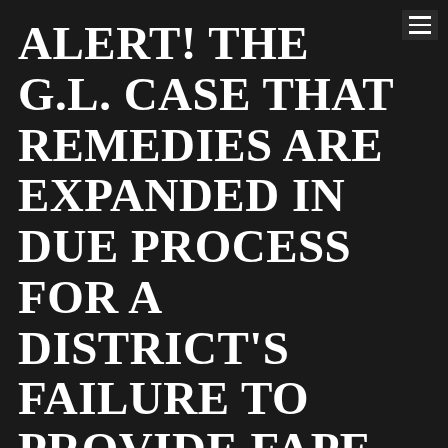ALERT! THE G.L. CASE THAT REMEDIES ARE EXPANDED IN DUE PROCESS FOR A DISTRICT'S FAILURE TO PROVIDE FAPE
ALERT! Third Circuit Court of Appeals decided on September 22, 2015 in the G.L. case that remedies are expanded in due process for a District's failure to provide FAPE in special education cases.